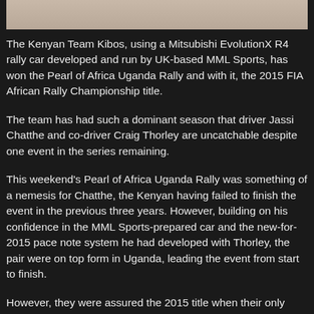[Figure (photo): Top portion of a photo, likely showing a rally car or related scene, cropped at the top of the page]
The Kenyan Team Kibos, using a Mitsubishi EvolutionX R4 rally car developed and run by UK-based MML Sports, has won the Pearl of Africa Uganda Rally and with it, the 2015 FIA African Rally Championship title.
The team has had such a dominant season that driver Jassi Chatthe and co-driver Craig Thorley are uncatchable despite one event in the series remaining.
This weekend's Pearl of Africa Uganda Rally was something of a nemesis for Chatthe, the Kenyan having failed to finish the event in the previous three years. However, building on his confidence in the MML Sports-prepared car and the new-for-2015 pace note system he had developed with Thorley, the pair were on top form in Uganda, leading the event from start to finish.
However, they were assured the 2015 title when their only